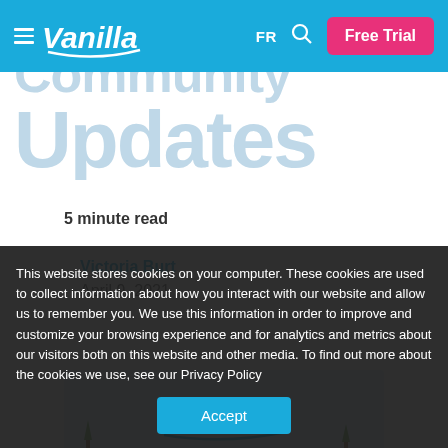Vanilla — FR — Free Trial
Community Updates
5 minute read
Victoria Burt
April 9, 2021
[Figure (illustration): Light blue banner image with Vanilla logo text and small plant/tree decorative elements]
This website stores cookies on your computer. These cookies are used to collect information about how you interact with our website and allow us to remember you. We use this information in order to improve and customize your browsing experience and for analytics and metrics about our visitors both on this website and other media. To find out more about the cookies we use, see our Privacy Policy